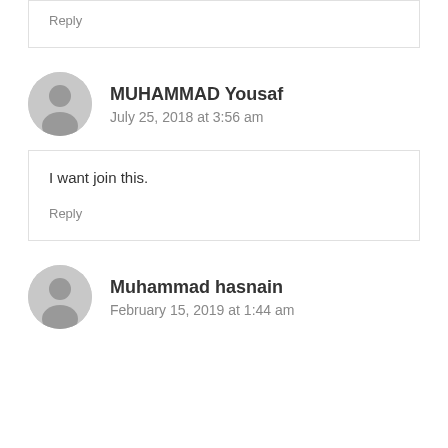Reply
MUHAMMAD Yousaf
July 25, 2018 at 3:56 am
I want join this.
Reply
Muhammad hasnain
February 15, 2019 at 1:44 am